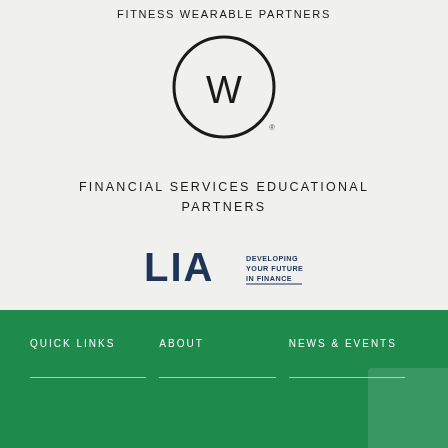FITNESS WEARABLE PARTNERS
[Figure (logo): Circular logo with a stylized W letter inside a circle with a registered trademark symbol]
FINANCIAL SERVICES EDUCATIONAL PARTNERS
[Figure (logo): LIA logo with tagline DEVELOPING YOUR FUTURE IN FINANCE]
QUICK LINKS   ABOUT   NEWS & EVENTS